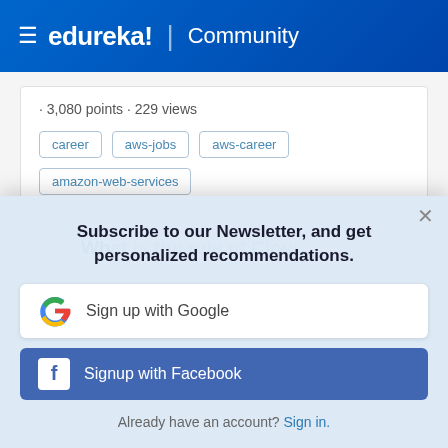≡ edureka! | Community
· 3,080 points · 229 views
career
aws-jobs
aws-career
amazon-web-services
Subscribe to our Newsletter, and get personalized recommendations.
Sign up with Google
Signup with Facebook
Already have an account? Sign in.